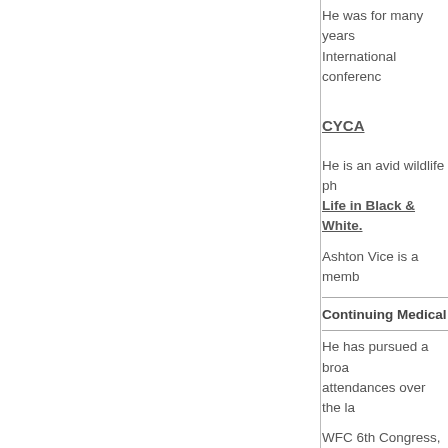He was for many years International conference
CYCA
He is an avid wildlife ph Life in Black & White.
Ashton Vice is a memb
Continuing Medical
He has pursued a broa attendances over the la
WFC 6th Congress, Pa
South African Spine So
South African Spine So
South African Spine So
HCNR 9 d...